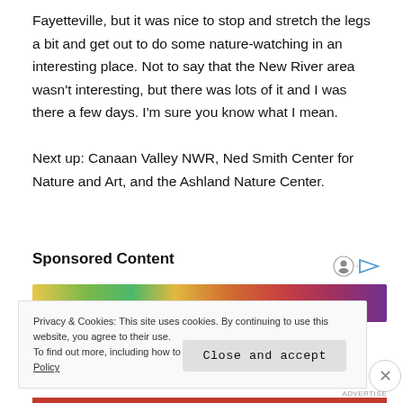Fayetteville, but it was nice to stop and stretch the legs a bit and get out to do some nature-watching in an interesting place. Not to say that the New River area wasn't interesting, but there was lots of it and I was there a few days. I'm sure you know what I mean.
Next up: Canaan Valley NWR, Ned Smith Center for Nature and Art, and the Ashland Nature Center.
Sponsored Content
[Figure (photo): Colorful food photography strip showing vegetables and fruits]
Privacy & Cookies: This site uses cookies. By continuing to use this website, you agree to their use.
To find out more, including how to control cookies, see here: Cookie Policy
Close and accept